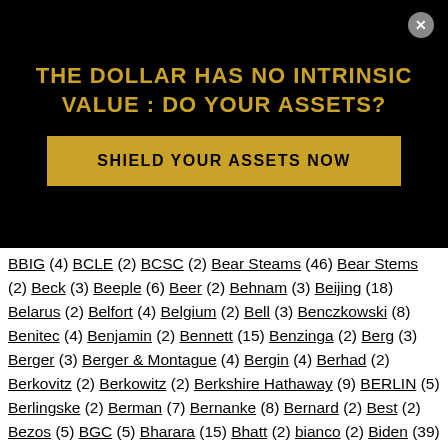THE DOLLAR HAS NO INTRINSIC VALUE : DO YOUR ASSETS?
SHIELD YOUR ASSETS NOW
BBIG (4) BCLE (2) BCSC (2) Bear Steams (46) Bear Stems (2) Beck (3) Beeple (6) Beer (2) Behnam (3) Beijing (18) Belarus (2) Belfort (4) Belgium (2) Bell (3) Benczkowski (8) Benitec (4) Benjamin (2) Bennett (15) Benzinga (2) Berg (3) Berger (3) Berger & Montague (4) Bergin (4) Berhad (2) Berkovitz (2) Berkowitz (2) Berkshire Hathaway (9) BERLIN (5) Berlingske (2) Berman (7) Bernanke (8) Bernard (2) Best (2) Bezos (5) BGC (5) Bharara (15) Bhatt (2) bianco (2) Biden (39) Biggar (2) Binance (3) Binney (9) BIONANO (7) Biovail (5) Bird (2) Bitcoin (66) Bitfinex (3) Bitmain (2) BitMEX (4) Bitstamp (2) Bivins Action (3) Bix Weir (2) Black (7) Blackberry (14) Blackburn (4) Black Edge (4) BlackRock (61) Blackstone (6) Blackstone Chambers (4) Blair (2) Blakey (5) Blanco (3) Blankfein (2) BLAS (3) Blasutti (2) Blinder Robinson (2) Blixseth (2) Block (6) Block & Leviton (9) Blockchain (17) Blodget